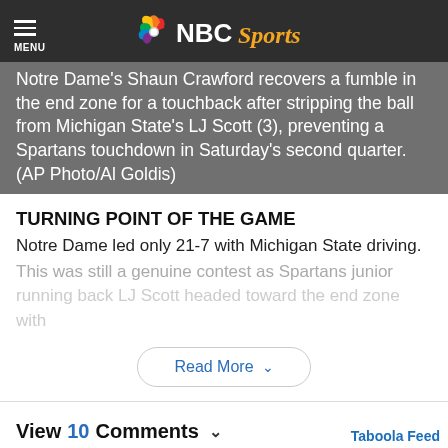NBC Sports
Notre Dame's Shaun Crawford recovers a fumble in the end zone for a touchback after stripping the ball from Michigan State's LJ Scott (3), preventing a Spartans touchdown in Saturday's second quarter. (AP Photo/Al Goldis)
TURNING POINT OF THE GAME
Notre Dame led only 21-7 with Michigan State driving. This was still a genuine contest as Spartans junior running back LJ Scott headed toward the end zone with
Read More
View 10 Comments
Taboola Feed